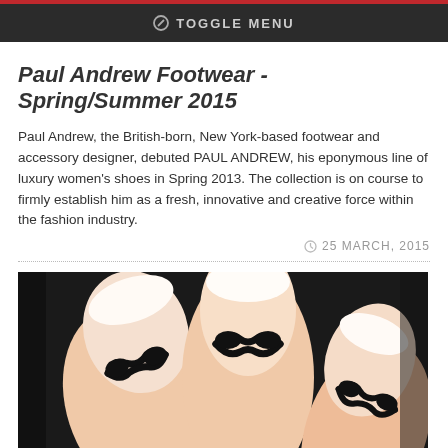TOGGLE MENU
Paul Andrew Footwear - Spring/Summer 2015
Paul Andrew, the British-born, New York-based footwear and accessory designer, debuted PAUL ANDREW, his eponymous line of luxury women's shoes in Spring 2013. The collection is on course to firmly establish him as a fresh, innovative and creative force within the fashion industry.
25 MARCH, 2015
[Figure (photo): Close-up photo of fingernails with white/pink base and black mustache nail art designs on multiple fingers against a dark background]